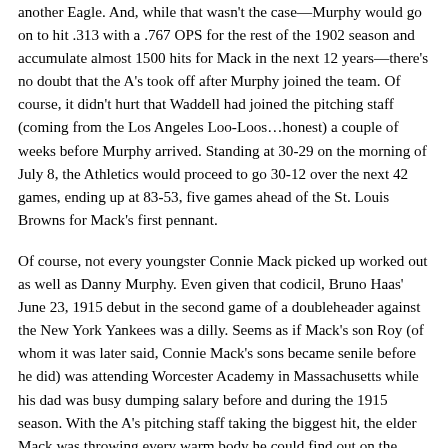another Eagle. And, while that wasn't the case—Murphy would go on to hit .313 with a .767 OPS for the rest of the 1902 season and accumulate almost 1500 hits for Mack in the next 12 years—there's no doubt that the A's took off after Murphy joined the team. Of course, it didn't hurt that Waddell had joined the pitching staff (coming from the Los Angeles Loo-Loos…honest) a couple of weeks before Murphy arrived. Standing at 30-29 on the morning of July 8, the Athletics would proceed to go 30-12 over the next 42 games, ending up at 83-53, five games ahead of the St. Louis Browns for Mack's first pennant.
Of course, not every youngster Connie Mack picked up worked out as well as Danny Murphy. Even given that codicil, Bruno Haas' June 23, 1915 debut in the second game of a doubleheader against the New York Yankees was a dilly. Seems as if Mack's son Roy (of whom it was later said, Connie Mack's sons became senile before he did) was attending Worcester Academy in Massachusetts while his dad was busy dumping salary before and during the 1915 season. With the A's pitching staff taking the biggest hit, the elder Mack was throwing every warm body he could find out on the mound. (Indeed, the starter in the first game of the